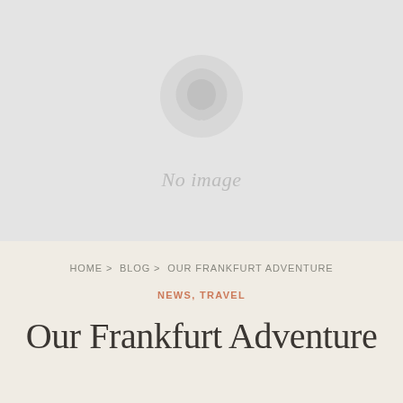[Figure (other): Placeholder image area with a broken image icon and 'No image' text on a light grey background]
HOME > BLOG > OUR FRANKFURT ADVENTURE
NEWS, TRAVEL
Our Frankfurt Adventure